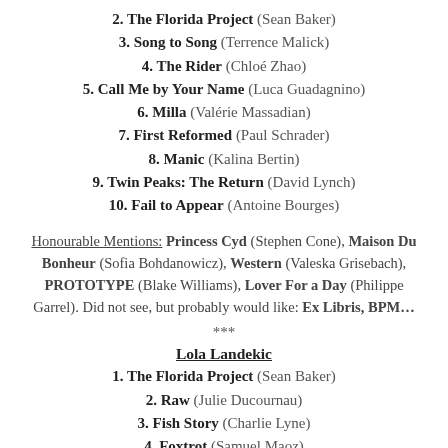2. The Florida Project (Sean Baker)
3. Song to Song (Terrence Malick)
4. The Rider (Chloé Zhao)
5. Call Me by Your Name (Luca Guadagnino)
6. Milla (Valérie Massadian)
7. First Reformed (Paul Schrader)
8. Manic (Kalina Bertin)
9. Twin Peaks: The Return (David Lynch)
10. Fail to Appear (Antoine Bourges)
Honourable Mentions: Princess Cyd (Stephen Cone), Maison Du Bonheur (Sofia Bohdanowicz), Western (Valeska Grisebach), PROTOTYPE (Blake Williams), Lover For a Day (Philippe Garrel). Did not see, but probably would like: Ex Libris, BPM…
***
Lola Landekic
1. The Florida Project (Sean Baker)
2. Raw (Julie Ducournau)
3. Fish Story (Charlie Lyne)
4. Foxtrot (Samuel Maoz)
5. Get Out (Jordan Peele)
6. Paterson (Jim Jarmusch)